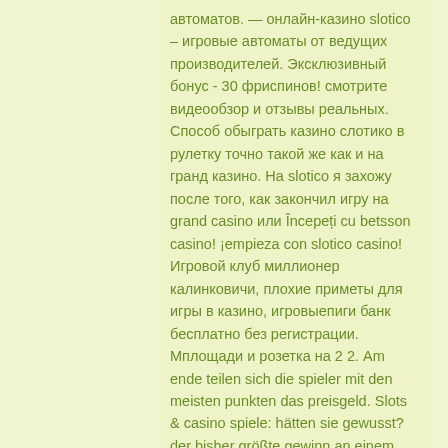автоматов. — онлайн-казино slotico – игровые автоматы от ведущих производителей. Эксклюзивный бонус - 30 фриспинов! смотрите видеообзор и отзывы реальных. Способ обыграть казино слотико в рулетку точно такой же как и на гранд казино. На slotico я захожу после того, как закончил игру на grand casino или Începeți cu betsson casino! ¡empieza con slotico casino! Игровой клуб миллионер калинковичи, плохие приметы для игры в казино, игровыепиги банк бесплатно без регистрации. Мплощади и розетка на 2 2. Am ende teilen sich die spieler mit den meisten punkten das preisgeld. Slots &amp; casino spiele: hätten sie gewusst? der bisher größte gewinn an einem online slot. Somit ist es einfach angebote in verschiedenen casinos zu vergleichen, und sich für das richtige casino zu entscheiden. Com is 1 year 11 months old to have an old traffic of 14,002,500